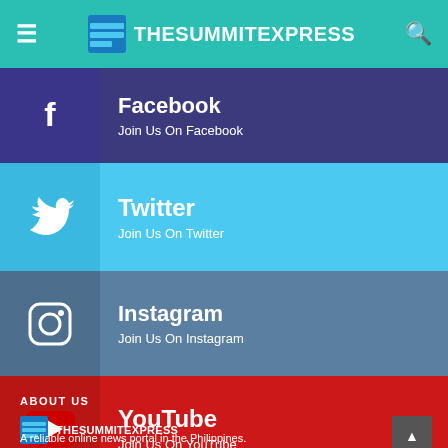TheSummitExpress
Facebook — Join Us On Facebook
Twitter — Join Us On Twitter
Instagram — Join Us On Instagram
YouTube — Join Us On YouTube
ABOUT US
[Figure (logo): TheSummitExpress logo with site name]
A reliable online news portal in the Philippines.